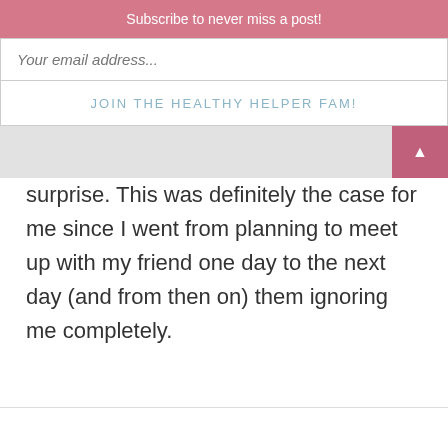Subscribe to never miss a post!
Your email address...
JOIN THE HEALTHY HELPER FAM!
surprise. This was definitely the case for me since I went from planning to meet up with my friend one day to the next day (and from then on) them ignoring me completely.